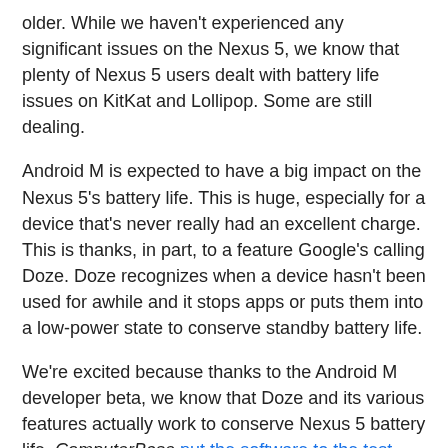older. While we haven't experienced any significant issues on the Nexus 5, we know that plenty of Nexus 5 users dealt with battery life issues on KitKat and Lollipop. Some are still dealing.
Android M is expected to have a big impact on the Nexus 5's battery life. This is huge, especially for a device that's never really had an excellent charge. This is thanks, in part, to a feature Google's calling Doze. Doze recognizes when a device hasn't been used for awhile and it stops apps or puts them into a low-power state to conserve standby battery life.
We're excited because thanks to the Android M developer beta, we know that Doze and its various features actually work to conserve Nexus 5 battery life. ComputerBase put the software to the test awhile back and it discovered some tangible improvements.